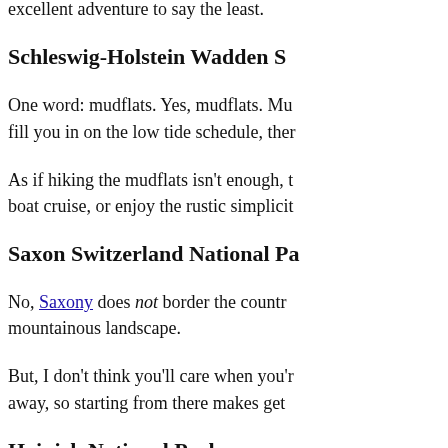excellent adventure to say the least.
Schleswig-Holstein Wadden S…
One word: mudflats. Yes, mudflats. Mu… fill you in on the low tide schedule, ther…
As if hiking the mudflats isn't enough, t… boat cruise, or enjoy the rustic simplicit…
Saxon Switzerland National Pa…
No, Saxony does not border the countr… mountainous landscape.
But, I don't think you'll care when you'r… away, so starting from there makes get…
Hainich National Park
Forested woodlands makes this Thurin… tours can take you to find everything fro… Rennsteig (Thuringia's oldest hiking tra…
These are some of my favorite picks.